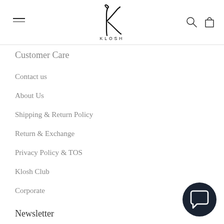KLOSH — navigation header with hamburger menu, logo, search and cart icons
Customer Care
Contact us
About Us
Shipping & Return Policy
Return & Exchange
Privacy Policy & TOS
Klosh Club
Corporate
Newsletter
[Figure (illustration): Chat/messaging bubble icon in dark navy circle, bottom right corner]